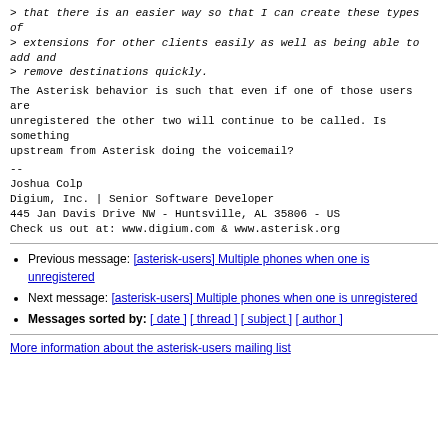> that there is an easier way so that I can create these types of
> extensions for other clients easily as well as being able to add and
> remove destinations quickly.
The Asterisk behavior is such that even if one of those users are unregistered the other two will continue to be called. Is something upstream from Asterisk doing the voicemail?
--
Joshua Colp
Digium, Inc. | Senior Software Developer
445 Jan Davis Drive NW - Huntsville, AL 35806 - US
Check us out at: www.digium.com & www.asterisk.org
Previous message: [asterisk-users] Multiple phones when one is unregistered
Next message: [asterisk-users] Multiple phones when one is unregistered
Messages sorted by: [ date ] [ thread ] [ subject ] [ author ]
More information about the asterisk-users mailing list